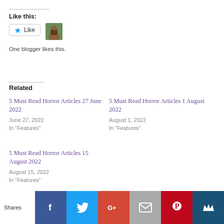Like this:
[Figure (other): Like button widget with star icon and blogger avatar thumbnail]
One blogger likes this.
Related
5 Must Read Horror Articles 27 June 2022
June 27, 2022
In "Features"
5 Must Read Horror Articles 1 August 2022
August 1, 2022
In "Features"
5 Must Read Horror Articles 15 August 2022
August 15, 2022
In "Features"
[Figure (infographic): Social sharing bar with Facebook, Twitter, Google+, Email, Pinterest, and Crown/Bloglovin icons. Shares label on left.]